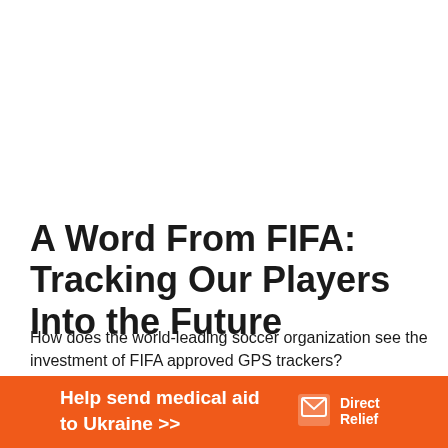A Word From FIFA: Tracking Our Players Into the Future
How does the world-leading soccer organization see the investment of FIFA approved GPS trackers?
The IMS standard, which is the International Match Standard, is being configured by the FIFA Football
[Figure (infographic): Orange banner advertisement reading 'Help send medical aid to Ukraine >>' with Direct Relief logo on the right side]